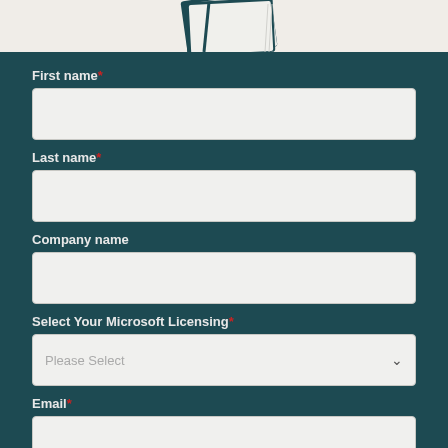[Figure (illustration): Partial view of book/notebook graphic at top of page on beige/cream background]
First name *
Last name *
Company name
Select Your Microsoft Licensing *
Please Select
Email *